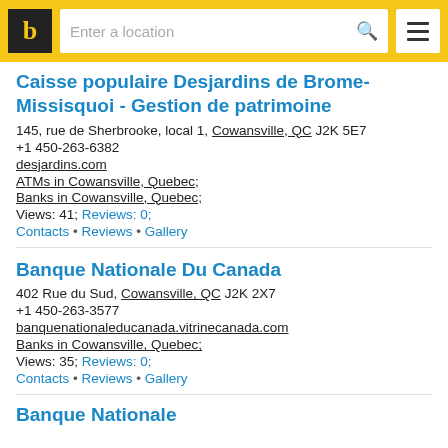b | Enter a location
Caisse populaire Desjardins de Brome-Missisquoi - Gestion de patrimoine
145, rue de Sherbrooke, local 1, Cowansville, QC J2K 5E7
+1 450-263-6382
desjardins.com
ATMs in Cowansville, Quebec;
Banks in Cowansville, Quebec;
Views: 41; Reviews: 0;
Contacts • Reviews • Gallery
Banque Nationale Du Canada
402 Rue du Sud, Cowansville, QC J2K 2X7
+1 450-263-3577
banquenationaleducanada.vitrinecanada.com
Banks in Cowansville, Quebec;
Views: 35; Reviews: 0;
Contacts • Reviews • Gallery
Banque Nationale